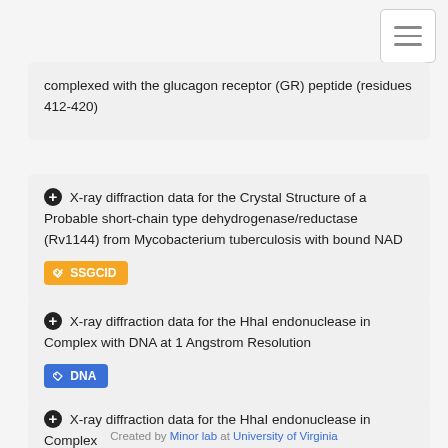complexed with the glucagon receptor (GR) peptide (residues 412-420)
X-ray diffraction data for the Crystal Structure of a Probable short-chain type dehydrogenase/reductase (Rv1144) from Mycobacterium tuberculosis with bound NAD
X-ray diffraction data for the HhaI endonuclease in Complex with DNA at 1 Angstrom Resolution
X-ray diffraction data for the HhaI endonuclease in Complex
Created by Minor lab at University of Virginia